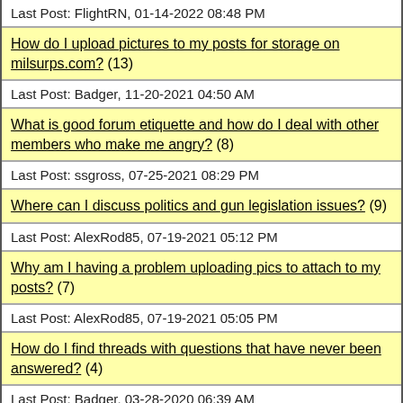Last Post: FlightRN, 01-14-2022 08:48 PM
How do I upload pictures to my posts for storage on milsurps.com? (13)
Last Post: Badger, 11-20-2021 04:50 AM
What is good forum etiquette and how do I deal with other members who make me angry? (8)
Last Post: ssgross, 07-25-2021 08:29 PM
Where can I discuss politics and gun legislation issues? (9)
Last Post: AlexRod85, 07-19-2021 05:12 PM
Why am I having a problem uploading pics to attach to my posts? (7)
Last Post: AlexRod85, 07-19-2021 05:05 PM
How do I find threads with questions that have never been answered? (4)
Last Post: Badger, 03-28-2020 06:39 AM
What is the Advisory Panel Review & Validation Service? (11)
Last Post: Mrshimm, 02-06-2020 10:23 AM
How safe from viruses and hackers am I when using the Milsurps.Com web site? (13)
Last Post: Badger, 12-07-2018 03:55 PM